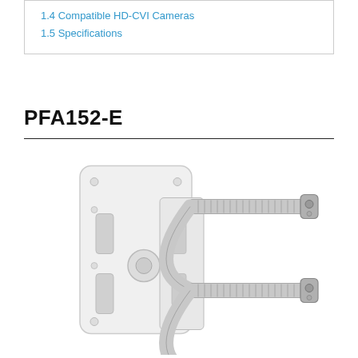1.4 Compatible HD-CVI Cameras
1.5 Specifications
PFA152-E
[Figure (photo): Product photo of PFA152-E pole mount bracket with white rectangular back plate featuring mounting holes and slots, attached to two stainless steel hose clamps/bands for pole mounting.]